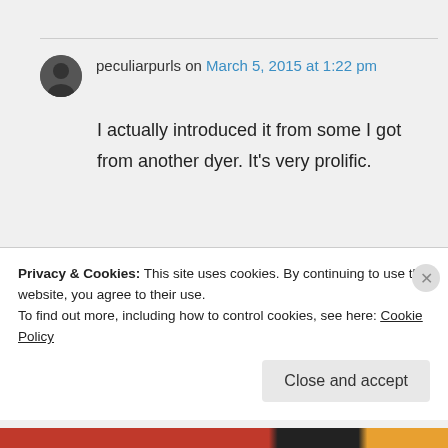peculiarpurls on March 5, 2015 at 1:22 pm
I actually introduced it from some I got from another dyer. It's very prolific.
Privacy & Cookies: This site uses cookies. By continuing to use this website, you agree to their use. To find out more, including how to control cookies, see here: Cookie Policy
Close and accept